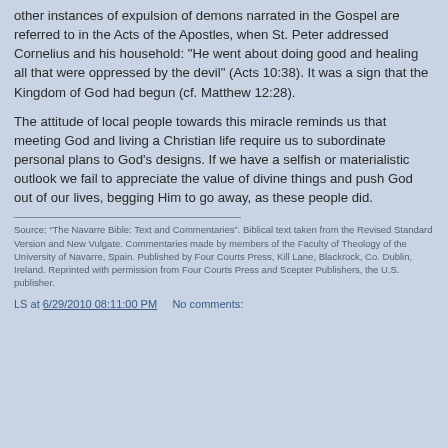other instances of expulsion of demons narrated in the Gospel are referred to in the Acts of the Apostles, when St. Peter addressed Cornelius and his household: "He went about doing good and healing all that were oppressed by the devil" (Acts 10:38). It was a sign that the Kingdom of God had begun (cf. Matthew 12:28).
The attitude of local people towards this miracle reminds us that meeting God and living a Christian life require us to subordinate personal plans to God's designs. If we have a selfish or materialistic outlook we fail to appreciate the value of divine things and push God out of our lives, begging Him to go away, as these people did.
Source: “The Navarre Bible: Text and Commentaries”. Biblical text taken from the Revised Standard Version and New Vulgate. Commentaries made by members of the Faculty of Theology of the University of Navarre, Spain. Published by Four Courts Press, Kill Lane, Blackrock, Co. Dublin, Ireland. Reprinted with permission from Four Courts Press and Scepter Publishers, the U.S. publisher.
LS at 6/29/2010 08:11:00 PM     No comments: